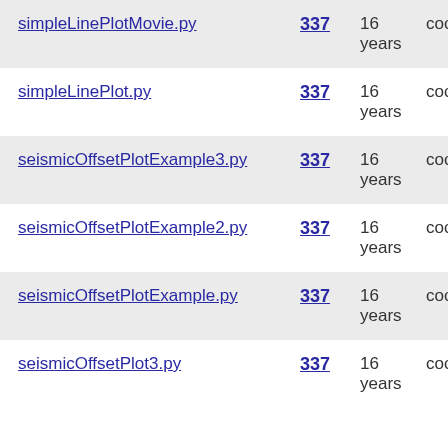| Name | Rev | Age | Author |
| --- | --- | --- | --- |
| simpleLinePlotMovie.py | 337 | 16 years | cochrane |
| simpleLinePlot.py | 337 | 16 years | cochrane |
| seismicOffsetPlotExample3.py | 337 | 16 years | cochrane |
| seismicOffsetPlotExample2.py | 337 | 16 years | cochrane |
| seismicOffsetPlotExample.py | 337 | 16 years | cochrane |
| seismicOffsetPlot3.py | 337 | 16 years | cochrane |